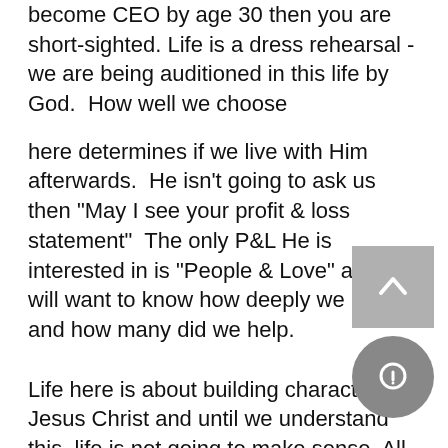become CEO by age 30 then you are short-sighted. Life is a dress rehearsal - we are being auditioned in this life by God.  How well we choose
here determines if we live with Him afterwards.  He isn't going to ask us then "May I see your profit & loss statement"  The only P&L He is interested in is "People & Love" and He will want to know how deeply we loved and how many did we help.
Life here is about building character in Jesus Christ and until we understand this, life is not going to make sense. All kinds of problems are going to come into our life. We are going to struggle